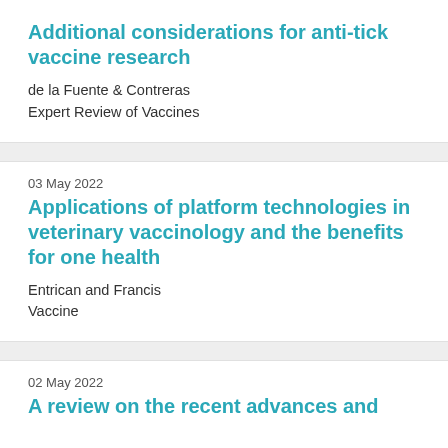Additional considerations for anti-tick vaccine research
de la Fuente & Contreras
Expert Review of Vaccines
03 May 2022
Applications of platform technologies in veterinary vaccinology and the benefits for one health
Entrican and Francis
Vaccine
02 May 2022
A review on the recent advances and applications of...